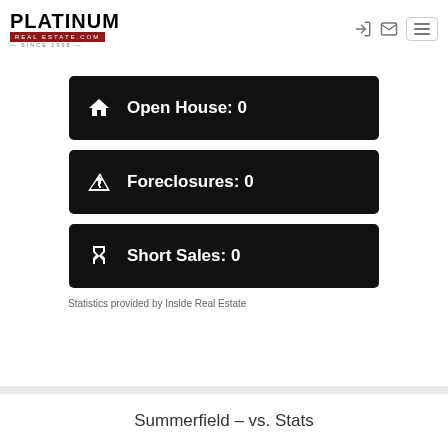PLATINUM REAL ESTATE.COM SINCE 1998
Open House: 0
Foreclosures: 0
Short Sales: 0
Statistics provided by Inside Real Estate
Summerfield – vs. Stats